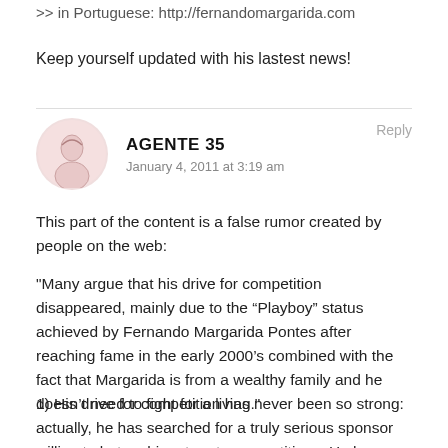>> in Portuguese: http://fernandomargarida.com
Keep yourself updated with his lastest news!
AGENTE 35
January 4, 2011 at 3:19 am
Reply
This part of the content is a false rumor created by people on the web:
"Many argue that his drive for competition disappeared, mainly due to the “Playboy” status achieved by Fernando Margarida Pontes after reaching fame in the early 2000’s combined with the fact that Margarida is from a wealthy family and he doesn’t need to fight for a living."
1) His drive for competition has never been so strong: actually, he has searched for a truly serious sponsor willing to bet on his return to competitions. He has trained hard and is determined to compete and make history again.